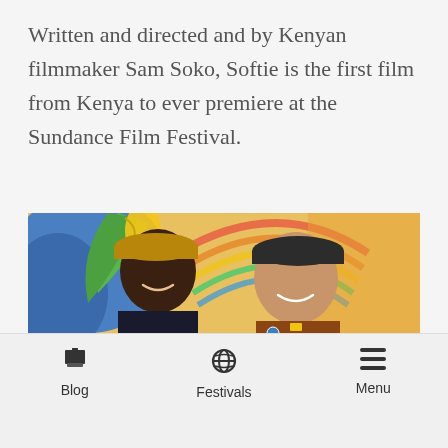Written and directed and by Kenyan filmmaker Sam Soko, Softie is the first film from Kenya to ever premiere at the Sundance Film Festival.
[Figure (photo): Two young women smiling and holding cardboard protest signs reading 'RADICAL ANARCHS' and 'TRANS', standing in front of a colorful mural. Both wearing berets.]
Blog   Festivals   Menu